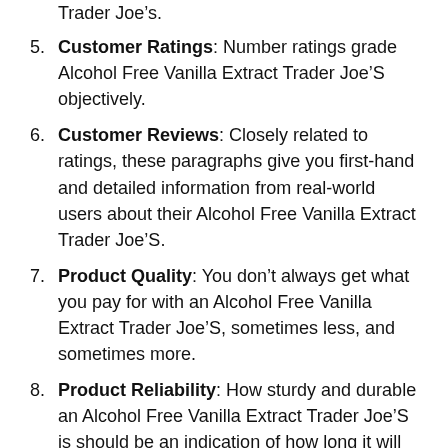Trader Joe’s.
Customer Ratings: Number ratings grade Alcohol Free Vanilla Extract Trader Joe’S objectively.
Customer Reviews: Closely related to ratings, these paragraphs give you first-hand and detailed information from real-world users about their Alcohol Free Vanilla Extract Trader Joe’S.
Product Quality: You don’t always get what you pay for with an Alcohol Free Vanilla Extract Trader Joe’S, sometimes less, and sometimes more.
Product Reliability: How sturdy and durable an Alcohol Free Vanilla Extract Trader Joe’S is should be an indication of how long it will work out for you.
Romance University always remembers that maintaining Alcohol Free Vanilla Extract Trader Joe’S information to stay current is a top priority, which is why we are constantly updating our websites. Learn more